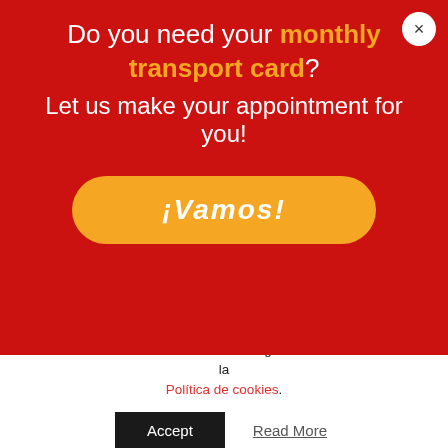[Figure (screenshot): Red promotional overlay banner with close button (×), text 'Do you need your monthly transport card? Let us make your appointment for you!' and a yellow rounded button labeled '¡Vamos!']
friendly electric motors which is why we've included them on this list.
eCooltra
Esta web instalará cookies analíticas _ga/_utm de Google Analytics, si usted lo acepta expresamente, que permiten mejorar nuestros servicios analizando sus hábitos de navegación. Más información en la Política de cookies.